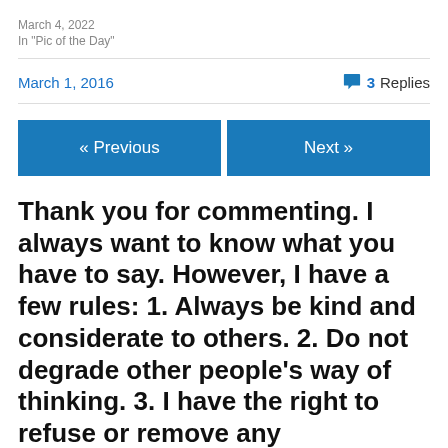March 4, 2022
In "Pic of the Day"
March 1, 2016
3 Replies
« Previous
Next »
Thank you for commenting. I always want to know what you have to say. However, I have a few rules: 1. Always be kind and considerate to others. 2. Do not degrade other people's way of thinking. 3. I have the right to refuse or remove any comment. I also reserve the right to